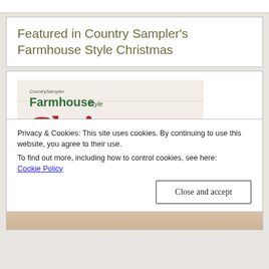Featured in Country Sampler's Farmhouse Style Christmas
[Figure (illustration): Magazine cover of Country Sampler's Farmhouse Style Christmas featuring large red cursive 'Christmas' text, green 'Farmhouse Style' text, a winter wreath with pine branches and red berries, and '75 Festive' text at bottom left, with a 'Start Celebrating Today' badge.]
Privacy & Cookies: This site uses cookies. By continuing to use this website, you agree to their use.
To find out more, including how to control cookies, see here: Cookie Policy
Close and accept